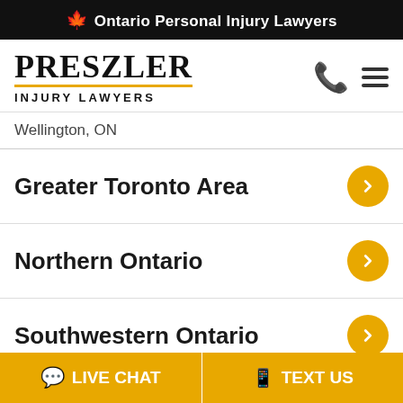🍁 Ontario Personal Injury Lawyers
[Figure (logo): Preszler Injury Lawyers logo with gold underline]
Wellington, ON
Greater Toronto Area
Northern Ontario
Southwestern Ontario
LIVE CHAT   TEXT US